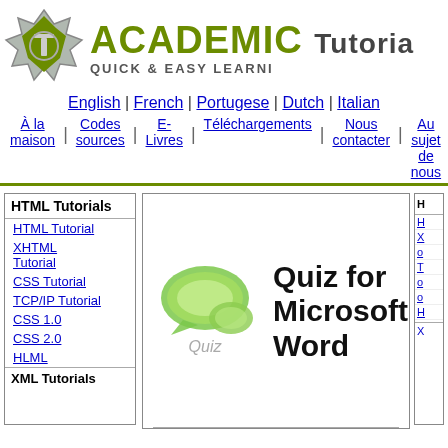[Figure (logo): Academic Tutorials logo with green star/shield and letter T, with site name 'ACADEMIC Tutorials Quick & Easy Learning']
English | French | Portugese | Dutch | Italian
À la maison | Codes sources | E-Livres | Téléchargements | Nous contacter | Au sujet de nous
HTML Tutorials
HTML Tutorial
XHTML Tutorial
CSS Tutorial
TCP/IP Tutorial
CSS 1.0
CSS 2.0
HLML
XML Tutorials
[Figure (illustration): Green speech bubble quiz icon with text 'Quiz' underneath]
Quiz for Microsoft Word